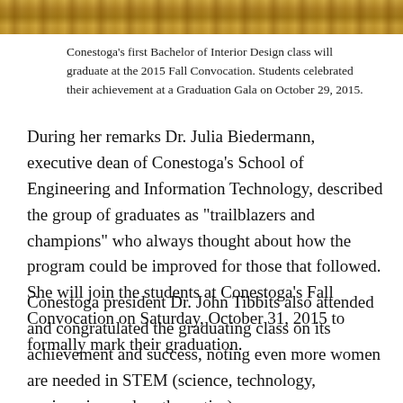[Figure (photo): Top strip showing a decorative gold/brown textured image, likely a partial photo of a graduation or event scene]
Conestoga’s first Bachelor of Interior Design class will graduate at the 2015 Fall Convocation. Students celebrated their achievement at a Graduation Gala on October 29, 2015.
During her remarks Dr. Julia Biedermann, executive dean of Conestoga’s School of Engineering and Information Technology, described the group of graduates as “trailblazers and champions” who always thought about how the program could be improved for those that followed. She will join the students at Conestoga’s Fall Convocation on Saturday, October 31, 2015 to formally mark their graduation.
Conestoga president Dr. John Tibbits also attended and congratulated the graduating class on its achievement and success, noting even more women are needed in STEM (science, technology, engineering and mathematics) programs.